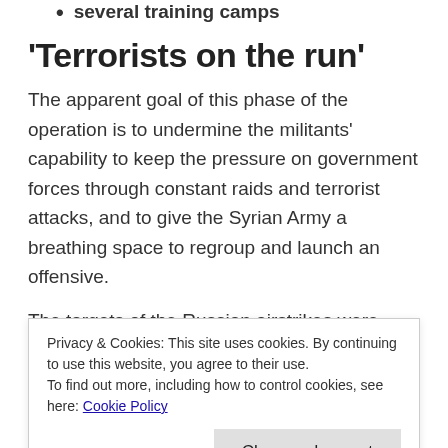several training camps
'Terrorists on the run'
The apparent goal of this phase of the operation is to undermine the militants' capability to keep the pressure on government forces through constant raids and terrorist attacks, and to give the Syrian Army a breathing space to regroup and launch an offensive.
The targets of the Russian airstrikes were spread
Privacy & Cookies: This site uses cookies. By continuing to use this website, you agree to their use.
To find out more, including how to control cookies, see here: Cookie Policy
According to the Russian military, the bombing campaign has hurt the morale of the militant troops